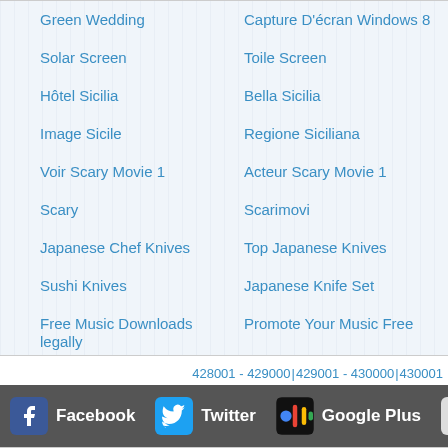Green Wedding
Capture D'écran Windows 8
Solar Screen
Toile Screen
Hôtel Sicilia
Bella Sicilia
Image Sicile
Regione Siciliana
Voir Scary Movie 1
Acteur Scary Movie 1
Scary
Scarimovi
Japanese Chef Knives
Top Japanese Knives
Sushi Knives
Japanese Knife Set
Free Music Downloads legally
Promote Your Music Free
Glamuse Soldes
Glamuse Robes
Glamuse Chaussures
Avis Glamuse
428001 - 429000 | 429001 - 430000 | 430001
Facebook  Twitter  Google Plus  Co...